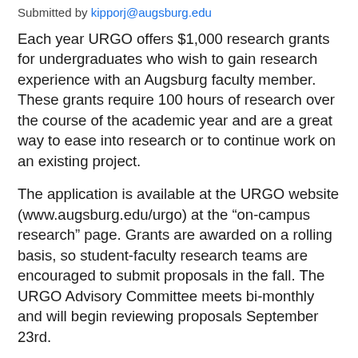Submitted by kipporj@augsburg.edu
Each year URGO offers $1,000 research grants for undergraduates who wish to gain research experience with an Augsburg faculty member. These grants require 100 hours of research over the course of the academic year and are a great way to ease into research or to continue work on an existing project.
The application is available at the URGO website (www.augsburg.edu/urgo) at the “on-campus research” page. Grants are awarded on a rolling basis, so student-faculty research teams are encouraged to submit proposals in the fall. The URGO Advisory Committee meets bi-monthly and will begin reviewing proposals September 23rd.
If you have any questions about undergraduate research opportunities, please contact Dixie Shafer at...